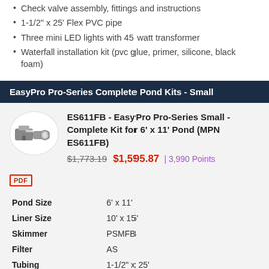Check valve assembly, fittings and instructions
1-1/2" x 25' Flex PVC pipe
Three mini LED lights with 45 watt transformer
Waterfall installation kit (pvc glue, primer, silicone, black foam)
EasyPro Pro-Series Complete Pond Kits - Small
ES611FB - EasyPro Pro-Series Small - Complete Kit for 6' x 11' Pond (MPN ES611FB)
$1,773.19 $1,595.87 | 3,990 Points
[Figure (other): PDF icon]
|  |  |
| --- | --- |
| Pond Size | 6' x 11' |
| Liner Size | 10' x 15' |
| Skimmer | PSMFB |
| Filter | AS |
| Tubing | 1-1/2" x 25' |
| Pond Gallons | 750 gallons |